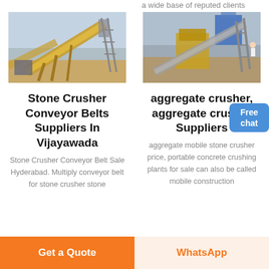a wide base of reputed clients across the industry
[Figure (photo): Stone crusher conveyor belt machinery at industrial site]
Stone Crusher Conveyor Belts Suppliers In Vijayawada
Stone Crusher Conveyor Belt Sale Hyderabad. Multiply conveyor belt for stone crusher stone
[Figure (photo): Aggregate crusher machinery at quarry/construction site]
aggregate crusher, aggregate crusher Suppliers
aggregate mobile stone crusher price, portable concrete crushing plants for sale can also be called mobile construction
Free chat
Get a Quote
WhatsApp